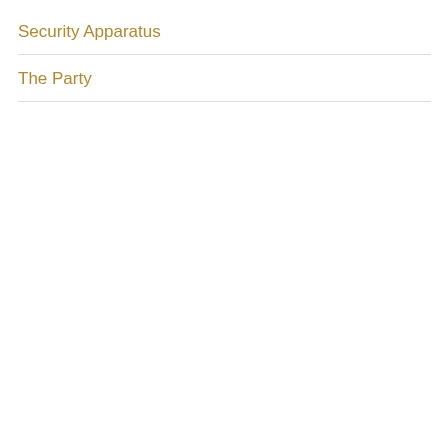Security Apparatus
The Party
Choi (O... was re... on the... Comm... of the... former... the KP...
[Figure (photo): Aerial view of Army-People Solidarity Rallies held in North Korea, large formations of people in a plaza]
Army-People Solidarity Rallies Held in N. Pyongan and Chagang
[Figure (photo): Crowd scene at Pyongyang Meeting for 80 Day Battle Kick Off, with red flags and large formations]
80 Day Battle Kick Off at Pyongyang Meeting
[Figure (photo): DPRK partial image, light blue tones]
DPRK... the Ha... Provid...